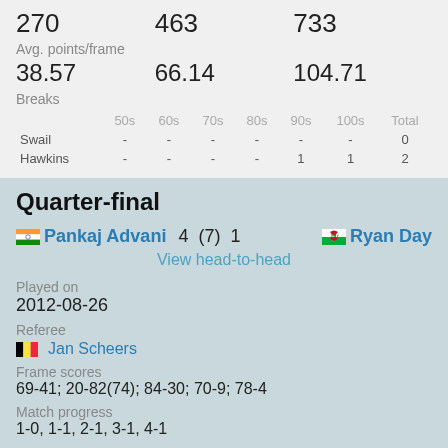|  |  |  |
| --- | --- | --- |
| 270 | 463 | 733 |
Avg. points/frame
|  |  |  |
| --- | --- | --- |
| 38.57 | 66.14 | 104.71 |
Breaks
|  | 50s | 60s | 70s | 80s | 90s | 100s | Total |
| --- | --- | --- | --- | --- | --- | --- | --- |
| Swail | - | - | - | - | - | - | 0 |
| Hawkins | - | - | - | - | 1 | 1 | 2 |
Quarter-final
Pankaj Advani 4 (7) 1 Ryan Day
View head-to-head
Played on
2012-08-26
Referee
Jan Scheers
Frame scores
69-41; 20-82(74); 84-30; 70-9; 78-4
Match progress
1-0, 1-1, 2-1, 3-1, 4-1
Advani    Day    Total
50+ Breaks